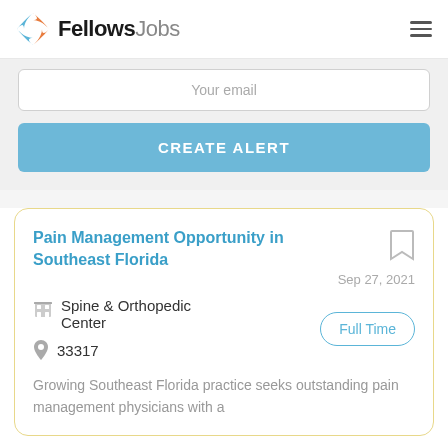FellowsJobs
Your email
CREATE ALERT
Pain Management Opportunity in Southeast Florida
Sep 27, 2021
Spine & Orthopedic Center
Full Time
33317
Growing Southeast Florida practice seeks outstanding pain management physicians with a